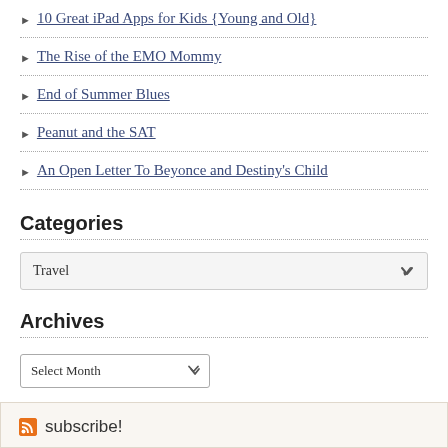10 Great iPad Apps for Kids {Young and Old}
The Rise of the EMO Mommy
End of Summer Blues
Peanut and the SAT
An Open Letter To Beyonce and Destiny's Child
Categories
Travel (dropdown)
Archives
Select Month (dropdown)
subscribe!